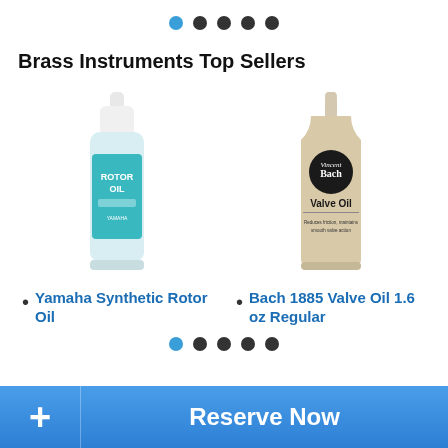[Figure (other): Pagination dots navigation — first dot active (blue), four dark dots]
Brass Instruments Top Sellers
[Figure (photo): Yamaha Synthetic Rotor Oil bottle — white dropper cap, teal label with ROTOR OIL text]
[Figure (photo): Bach 1885 Valve Oil bottle — beige plastic squeeze bottle with black circular Bach logo and Valve Oil label]
Yamaha Synthetic Rotor Oil
Bach 1885 Valve Oil 1.6 oz Regular
[Figure (other): Pagination dots navigation — first dot active (blue), four dark dots]
Reserve Now